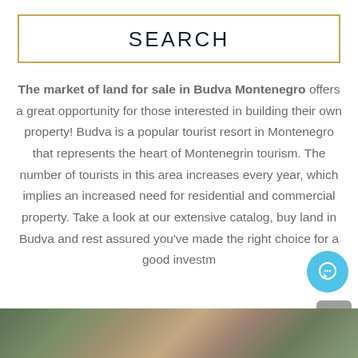SEARCH
The market of land for sale in Budva Montenegro offers a great opportunity for those interested in building their own property! Budva is a popular tourist resort in Montenegro that represents the heart of Montenegrin tourism. The number of tourists in this area increases every year, which implies an increased need for residential and commercial property. Take a look at our extensive catalog, buy land in Budva and rest assured you've made the right choice for a good investment.
[Figure (photo): Aerial/satellite view of land near Budva Montenegro coastline]